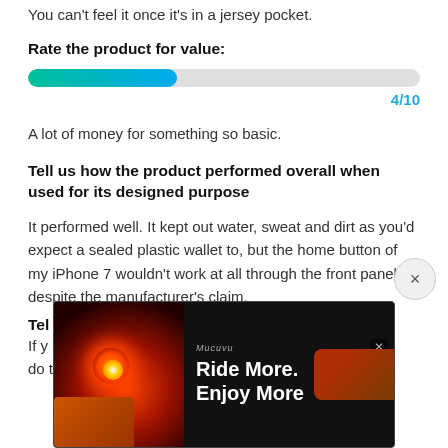You can't feel it once it's in a jersey pocket.
Rate the product for value:
[Figure (other): Horizontal progress bar showing rating, filled approximately 38% with a teal-to-blue gradient, on a light gray background.]
4/10
A lot of money for something so basic.
Tell us how the product performed overall when used for its designed purpose
It performed well. It kept out water, sweat and dirt as you'd expect a sealed plastic wallet to, but the home button of my iPhone 7 wouldn't work at all through the front panel despite the manufacturer's claim.
Tell
If y  ...ill do t
[Figure (screenshot): Advertisement overlay with close button (×) and banner ad reading 'Ride More. Enjoy More' with bicycle light imagery on dark background.]